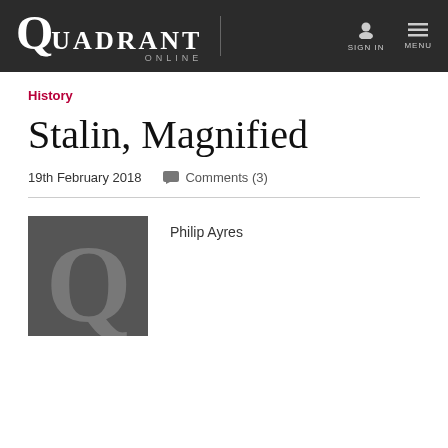QUADRANT ONLINE | SIGN IN  MENU
History
Stalin, Magnified
19th February 2018    Comments (3)
[Figure (logo): Quadrant Online logo placeholder — dark square with large stylized Q letter in grey]
Philip Ayres